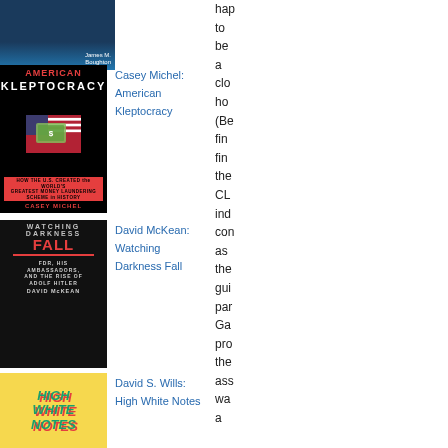[Figure (photo): Book cover - partial, dark blue/navy, author name James M. Boughton visible]
[Figure (photo): Book cover - American Kleptocracy by Casey Michel, black cover with red title text and American flag imagery]
Casey Michel: American Kleptocracy
[Figure (photo): Book cover - Watching Darkness Fall by David McKean, dark cover with red FALL text]
David McKean: Watching Darkness Fall
[Figure (photo): Book cover - High White Notes by David S. Wills, colorful cover with stylized text]
David S. Wills: High White Notes
hap to be a clo ho (Be fin fin the CL ind con as the gui par Ga pro the ass wa a